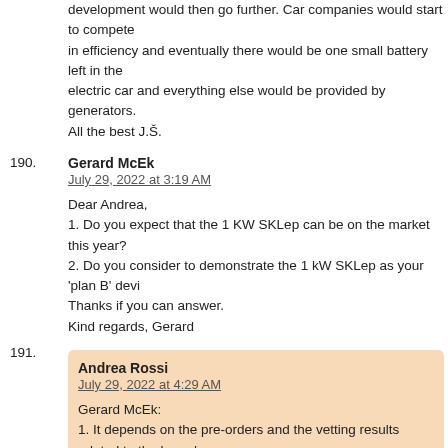development would then go further. Car companies would start to compete in efficiency and eventually there would be one small battery left in the electric car and everything else would be provided by generators.
All the best J.Š.
190. Gerard McEk
July 29, 2022 at 3:19 AM

Dear Andrea,
1. Do you expect that the 1 KW SKLep can be on the market this year?
2. Do you consider to demonstrate the 1 kW SKLep as your 'plan B' devi
Thanks if you can answer.
Kind regards, Gerard
191. Andrea Rossi
July 29, 2022 at 4:29 AM

Gerard McEk:
1. It depends on the pre-orders and the vetting results related to the buyer's financial reliability
2. We are not disclosing so far the nature of the possible Plan B
Warm Regards,
A.R.